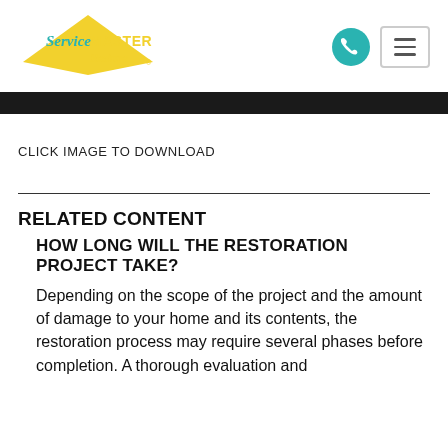[Figure (logo): ServiceMaster Restore logo with yellow triangle/arrow shape and teal 'Service' text, yellow 'MASTER' text, and 'Restore' script text]
CLICK IMAGE TO DOWNLOAD
RELATED CONTENT
HOW LONG WILL THE RESTORATION PROJECT TAKE?
Depending on the scope of the project and the amount of damage to your home and its contents, the restoration process may require several phases before completion. A thorough evaluation and